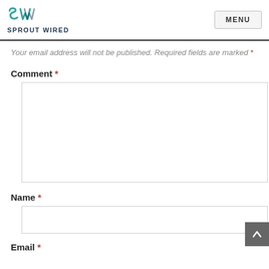SPROUT WIRED | MENU
Your email address will not be published. Required fields are marked *
Comment *
Name *
Email *